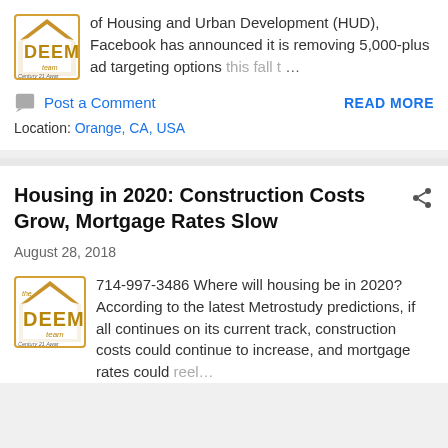[Figure (logo): DEEM Team Century 21 Award logo — gold diamond/house icon with text]
of Housing and Urban Development (HUD), Facebook has announced it is removing 5,000-plus ad targeting options this fall t…
Post a Comment
READ MORE
Location: Orange, CA, USA
Housing in 2020: Construction Costs Grow, Mortgage Rates Slow
August 28, 2018
[Figure (logo): DEEM Team Century 21 Award logo — gold diamond/house icon with text]
714-997-3486 Where will housing be in 2020? According to the latest Metrostudy predictions, if all continues on its current track, construction costs could continue to increase, and mortgage rates could reel…